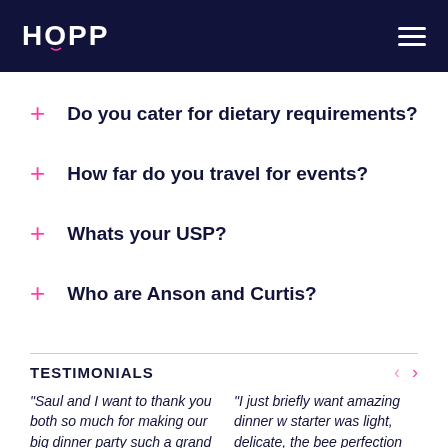HOPP
+ Do you cater for dietary requirements?
+ How far do you travel for events?
+ Whats your USP?
+ Who are Anson and Curtis?
TESTIMONIALS
"Saul and I want to thank you both so much for making our big dinner party such a grand success. We really valued your input and guidance along the...
"I just briefly want amazing dinner w starter was light, delicate, the bee perfection the...